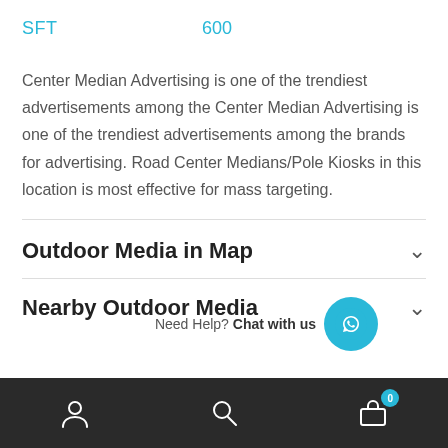|  |  |
| --- | --- |
| SFT | 600 |
Center Median Advertising is one of the trendiest advertisements among the Center Median Advertising is one of the trendiest advertisements among the brands for advertising. Road Center Medians/Pole Kiosks in this location is most effective for mass targeting.
Outdoor Media in Map
Nearby Outdoor Media
[Figure (other): WhatsApp chat button with 'Need Help? Chat with us' text]
Bottom navigation bar with user icon, search icon, and cart icon with badge 0